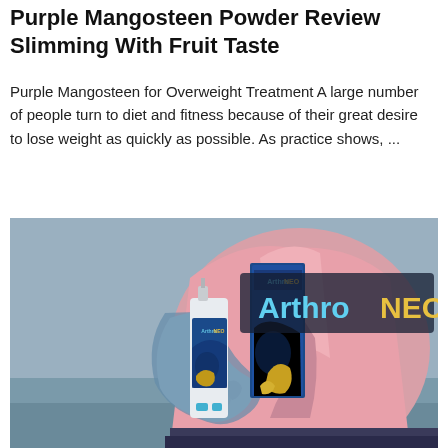Purple Mangosteen Powder Review Slimming With Fruit Taste
Purple Mangosteen for Overweight Treatment A large number of people turn to diet and fitness because of their great desire to lose weight as quickly as possible. As practice shows, ...
[Figure (photo): ArthroNEO product photo showing a spray bottle and its box next to a woman in a pink shirt holding her hip/back area, with the ArthroNEO logo overlay in cyan and gold text on a dark semi-transparent background]